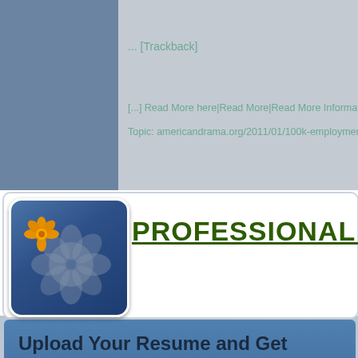... [Trackback]
[...] Read More here|Read More|Read More Informatio
Topic: americandrama.org/2011/01/100k-employment-
PROFESSIONAL ADVI
[Figure (logo): Blue rounded square logo with orange and gray flower design]
Upload Your Resume and Get
Daily Job Search Advice | Career Advancement Tips | Informative Articles on Life Lessons And much more...
Email Address [input field]
Upload Resume [Choose File] No file chosen